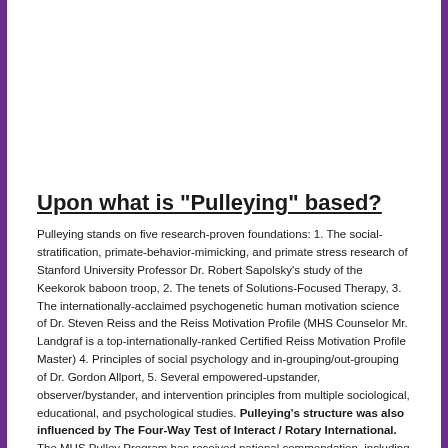Upon what is "Pulleying" based?
Pulleying stands on five research-proven foundations: 1. The social-stratification, primate-behavior-mimicking, and primate stress research of Stanford University Professor Dr. Robert Sapolsky's study of the Keekorok baboon troop, 2. The tenets of Solutions-Focused Therapy, 3. The internationally-acclaimed psychogenetic human motivation science of Dr. Steven Reiss and the Reiss Motivation Profile (MHS Counselor Mr. Landgraf is a top-internationally-ranked Certified Reiss Motivation Profile Master) 4. Principles of social psychology and in-grouping/out-grouping of Dr. Gordon Allport, 5. Several empowered-upstander, observer/bystander, and intervention principles from multiple sociological, educational, and psychological studies. Pulleying's structure was also influenced by The Four-Way Test of Interact / Rotary International. The MHS Pulley Program has received national commendation, including a 2018 grant and supplemental bonus grant from The Southern Poverty Law Center's Teaching Tolerance/Learning For Justice Educators' Grant Program, a 2021 grant from the Mendota Education Foundation, major ongoing support from both Mendota